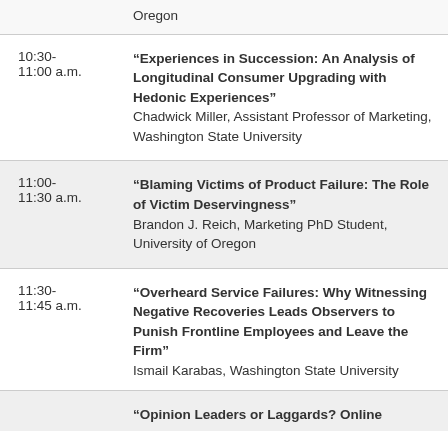| Time | Session |
| --- | --- |
|  | Oregon |
| 10:30-
11:00 a.m. | “Experiences in Succession: An Analysis of Longitudinal Consumer Upgrading with Hedonic Experiences”
Chadwick Miller, Assistant Professor of Marketing, Washington State University |
| 11:00-
11:30 a.m. | “Blaming Victims of Product Failure: The Role of Victim Deservingness”
Brandon J. Reich, Marketing PhD Student, University of Oregon |
| 11:30-
11:45 a.m. | “Overheard Service Failures: Why Witnessing Negative Recoveries Leads Observers to Punish Frontline Employees and Leave the Firm”
Ismail Karabas, Washington State University |
|  | “Opinion Leaders or Laggards? Online |